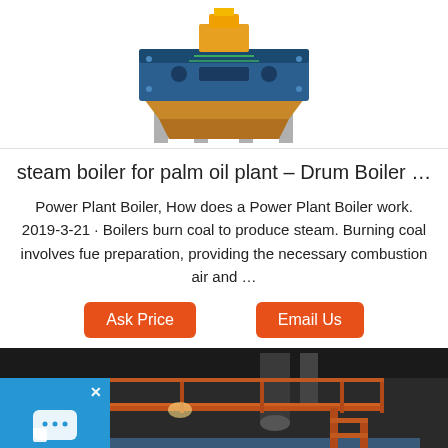[Figure (photo): Industrial machine/equipment (likely a crusher or press) on support legs, photographed from below against white background]
steam boiler for palm oil plant – Drum Boiler …
Power Plant Boiler, How does a Power Plant Boiler work. 2019-3-21 · Boilers burn coal to produce steam. Burning coal involves fue preparation, providing the necessary combustion air and …
[Figure (photo): Industrial boiler installation inside a factory/plant, showing a large blue boiler unit with orange metal walkways and stairs, pipes and ceiling structure visible]